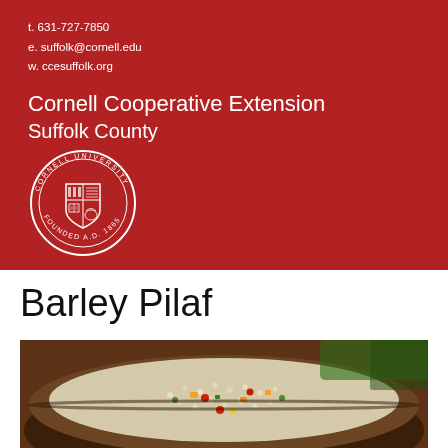t. 631-727-7850
e. suffolk@cornell.edu
w. ccesuffolk.org
Cornell Cooperative Extension Suffolk County
[Figure (logo): Cornell University seal/crest with circular text reading 'CORNELL UNIVERSITY FOUNDED A.D. 1865']
Barley Pilaf
[Figure (photo): Photo of a bowl/pan of barley pilaf with colorful vegetables including orange, red, and green pieces on a dark background]